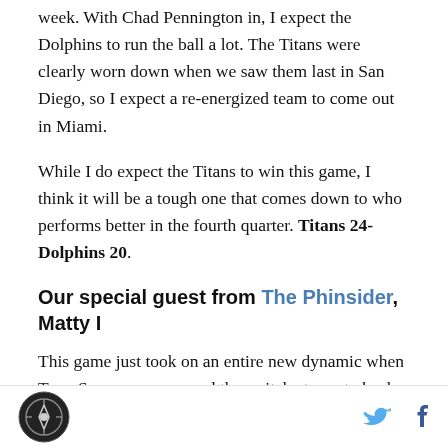week. With Chad Pennington in, I expect the Dolphins to run the ball a lot. The Titans were clearly worn down when we saw them last in San Diego, so I expect a re-energized team to come out in Miami.
While I do expect the Titans to win this game, I think it will be a tough one that comes down to who performs better in the fourth quarter. Titans 24-Dolphins 20.
Our special guest from The Phinsider, Matty I
This game just took on an entire new dynamic when Tony Sparano announced the switch at quarterback. Chad Pennington will now be under center, hoping to spark a Miami offense that has struggled to score